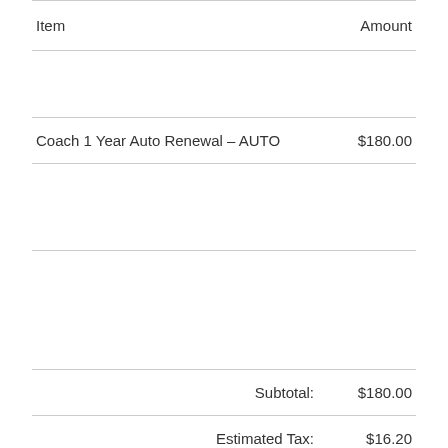| Item | Amount |
| --- | --- |
| Coach 1 Year Auto Renewal – AUTO | $180.00 |
| Subtotal: | $180.00 |
| Estimated Tax: | $16.20 |